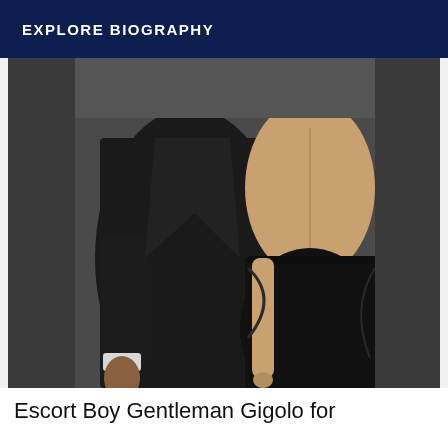EXPLORE BIOGRAPHY
[Figure (photo): A man in a black tuxedo and a woman in a black strapless dress, both viewed from behind, in an elegant pose against a dark grey background.]
Escort Boy Gentleman Gigolo for